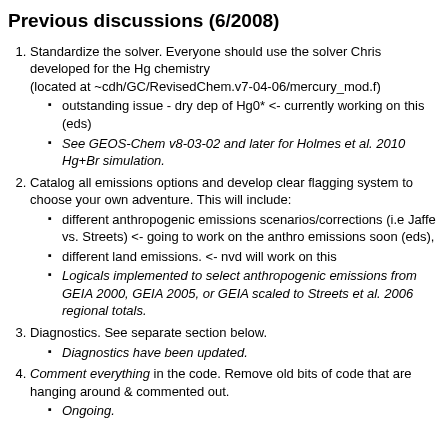Previous discussions (6/2008)
Standardize the solver. Everyone should use the solver Chris developed for the Hg chemistry (located at ~cdh/GC/RevisedChem.v7-04-06/mercury_mod.f)
outstanding issue - dry dep of Hg0* <- currently working on this (eds)
See GEOS-Chem v8-03-02 and later for Holmes et al. 2010 Hg+Br simulation.
Catalog all emissions options and develop clear flagging system to choose your own adventure. This will include:
different anthropogenic emissions scenarios/corrections (i.e Jaffe vs. Streets) <- going to work on the anthro emissions soon (eds),
different land emissions. <- nvd will work on this
Logicals implemented to select anthropogenic emissions from GEIA 2000, GEIA 2005, or GEIA scaled to Streets et al. 2006 regional totals.
Diagnostics. See separate section below.
Diagnostics have been updated.
Comment everything in the code. Remove old bits of code that are hanging around & commented out.
Ongoing.